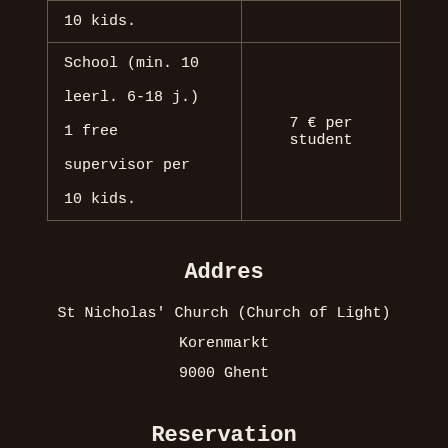| Type | Price |
| --- | --- |
| 10 kids. |  |
| School (min. 10 leerl. 6-18 j.)
1 free supervisor per 10 kids. | 7 € per student |
Addres
St Nicholas' Church (Church of Light)
Korenmarkt
9000 Ghent
Reservation